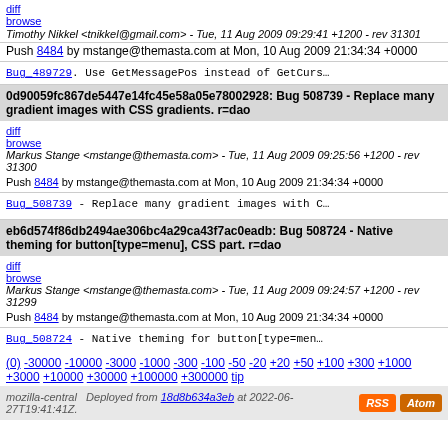diff browse  Timothy Nikkel <tnikkel@gmail.com> - Tue, 11 Aug 2009 09:29:41 +1200 - rev 31301
Push 8484 by mstange@themasta.com at Mon, 10 Aug 2009 21:34:34 +0000
Bug_489729. Use GetMessagePos instead of GetCursor...
0d90059fc867de5447e14fc45e58a05e78002928: Bug 508739 - Replace many gradient images with CSS gradients. r=dao
diff browse  Markus Stange <mstange@themasta.com> - Tue, 11 Aug 2009 09:25:56 +1200 - rev 31300
Push 8484 by mstange@themasta.com at Mon, 10 Aug 2009 21:34:34 +0000
Bug_508739 - Replace many gradient images with...
eb6d574f86db2494ae306bc4a29ca43f7ac0eadb: Bug 508724 - Native theming for button[type=menu], CSS part. r=dao
diff browse  Markus Stange <mstange@themasta.com> - Tue, 11 Aug 2009 09:24:57 +1200 - rev 31299
Push 8484 by mstange@themasta.com at Mon, 10 Aug 2009 21:34:34 +0000
Bug_508724 - Native theming for button[type=menu...
(0) -30000 -10000 -3000 -1000 -300 -100 -50 -20 +20 +50 +100 +300 +1000 +3000 +10000 +30000 +100000 +300000 tip
mozilla-central  Deployed from 18d8b634a3eb at 2022-06-27T19:41:41Z.